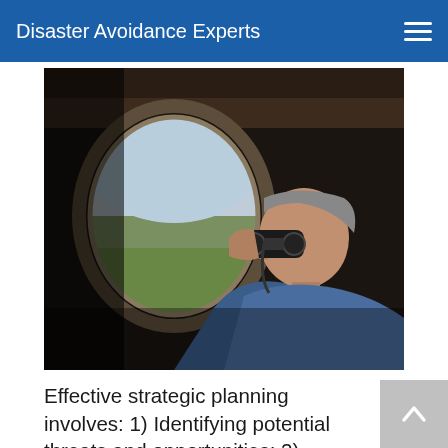Disaster Avoidance Experts
[Figure (photo): A man in a blue shirt looks through binoculars out of a round airplane window. The interior of the aircraft is dark, and light comes through the oval porthole window.]
Effective strategic planning involves: 1) Identifying potential threats and opportunities; 2) Planning how to deal with them; 3) Reserving sufficient resources to...